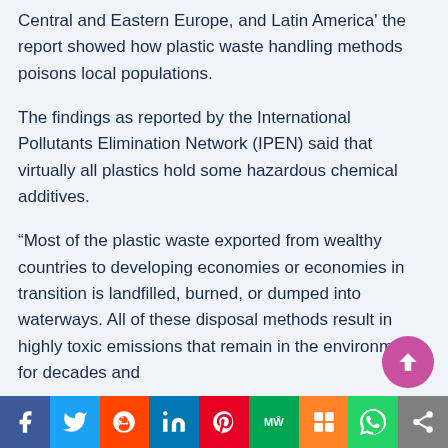Central and Eastern Europe, and Latin America' the report showed how plastic waste handling methods poisons local populations.
The findings as reported by the International Pollutants Elimination Network (IPEN) said that virtually all plastics hold some hazardous chemical additives.
“Most of the plastic waste exported from wealthy countries to developing economies or economies in transition is landfilled, burned, or dumped into waterways. All of these disposal methods result in highly toxic emissions that remain in the environment for decades and
[Figure (infographic): Social media share bar with icons: Facebook (blue), Twitter (light blue), Reddit (orange-red), LinkedIn (dark blue), Pinterest (red), MW (green), Mix (orange), WhatsApp (green), Share (grey). Also a purple circular scroll-to-top button.]